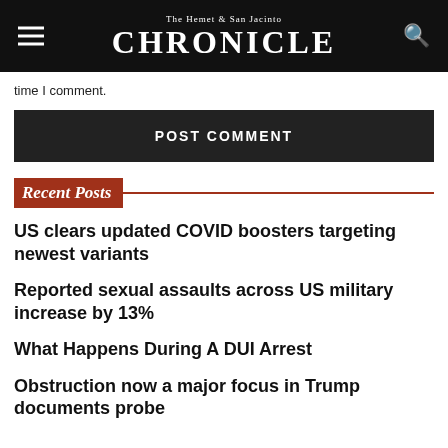The Hemet & San Jacinto CHRONICLE
time I comment.
POST COMMENT
Recent Posts
US clears updated COVID boosters targeting newest variants
Reported sexual assaults across US military increase by 13%
What Happens During A DUI Arrest
Obstruction now a major focus in Trump documents probe